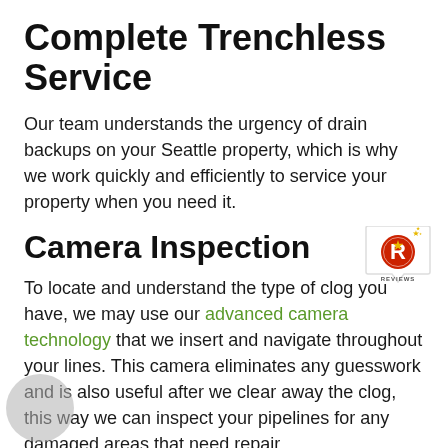Complete Trenchless Service
Our team understands the urgency of drain backups on your Seattle property, which is why we work quickly and efficiently to service your property when you need it.
Camera Inspection
[Figure (logo): Yelp-style Reviews badge — a speech-bubble shape containing an 'R' logo with a star and the word REVIEWS, in red, gold, blue and grey on white background]
To locate and understand the type of clog you have, we may use our advanced camera technology that we insert and navigate throughout your lines. This camera eliminates any guesswork and is also useful after we clear away the clog, this way we can inspect your pipelines for any damaged areas that need repair.